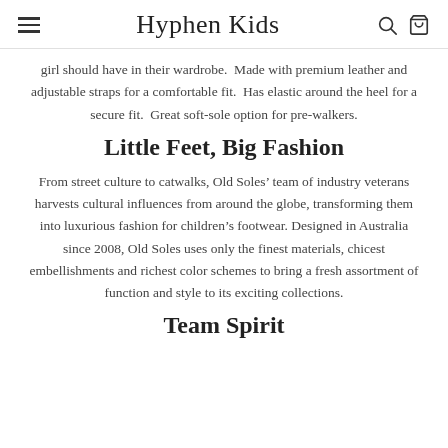Hyphen Kids
girl should have in their wardrobe.  Made with premium leather and adjustable straps for a comfortable fit.  Has elastic around the heel for a secure fit.  Great soft-sole option for pre-walkers.
Little Feet, Big Fashion
From street culture to catwalks, Old Soles’ team of industry veterans harvests cultural influences from around the globe, transforming them into luxurious fashion for children’s footwear. Designed in Australia since 2008, Old Soles uses only the finest materials, chicest embellishments and richest color schemes to bring a fresh assortment of function and style to its exciting collections.
Team Spirit